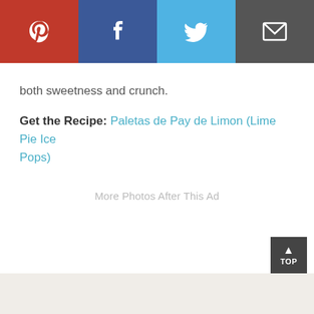[Figure (other): Social share bar with four buttons: Pinterest (red), Facebook (dark blue), Twitter (light blue), Email (dark gray), each with white icons]
both sweetness and crunch.
Get the Recipe: Paletas de Pay de Limon (Lime Pie Ice Pops)
More Photos After This Ad